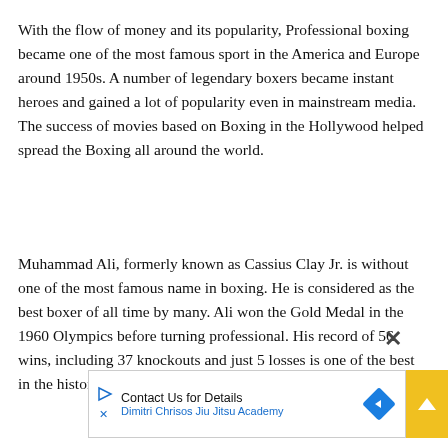With the flow of money and its popularity, Professional boxing became one of the most famous sport in the America and Europe around 1950s. A number of legendary boxers became instant heroes and gained a lot of popularity even in mainstream media. The success of movies based on Boxing in the Hollywood helped spread the Boxing all around the world.
Muhammad Ali, formerly known as Cassius Clay Jr. is without one of the most famous name in boxing. He is considered as the best boxer of all time by many. Ali won the Gold Medal in the 1960 Olympics before turning professional. His record of 56 wins, including 37 knockouts and just 5 losses is one of the best in the history of the sport.
[Figure (other): Advertisement banner: 'Contact Us for Details' with 'Dimitri Chrisos Jiu Jitsu Academy' and a blue diamond navigation icon. A yellow scroll-to-top button with a white chevron is on the right. A close (X) button appears above the ad.]